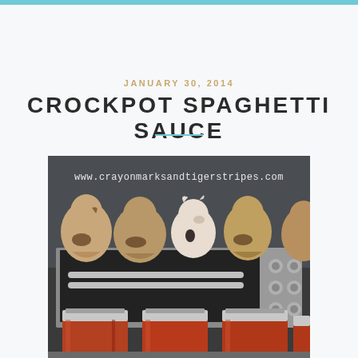JANUARY 30, 2014
CROCKPOT SPAGHETTI SAUCE
[Figure (photo): Photo of mason jars filled with red spaghetti sauce in front of a toaster oven, with ceramic chicken figurines on top. Watermark text reads www.crayonmarksandtigerstripes.com]